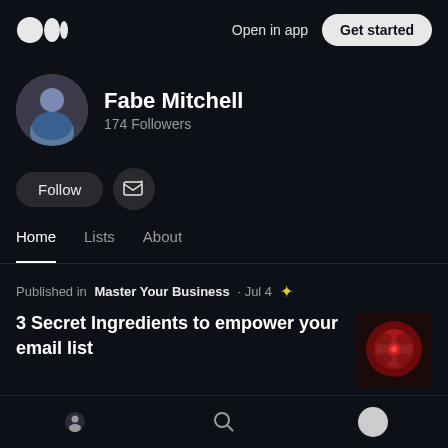Open in app | Get started
Fabe Mitchell
174 Followers
Follow | Subscribe button
Home | Lists | About
Published in Master Your Business · Jul 4
3 Secret Ingredients to empower your email list
Email Marketing  3 min read